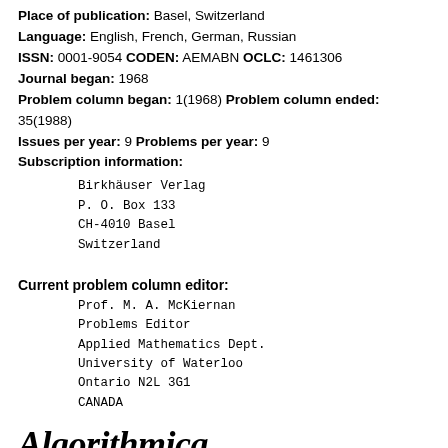Place of publication: Basel, Switzerland
Language: English, French, German, Russian
ISSN: 0001-9054 CODEN: AEMABN OCLC: 1461306
Journal began: 1968
Problem column began: 1(1968) Problem column ended: 35(1988)
Issues per year: 9 Problems per year: 9
Subscription information:
Birkhäuser Verlag
P. O. Box 133
CH-4010 Basel
Switzerland
Current problem column editor:
Prof. M. A. McKiernan
Problems Editor
Applied Mathematics Dept.
University of Waterloo
Ontario N2L 3G1
CANADA
Algorithmica